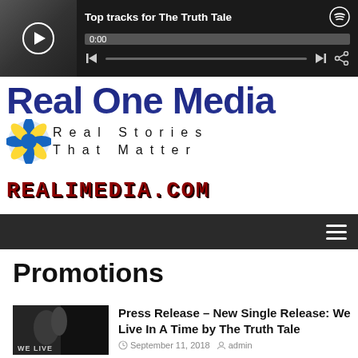[Figure (screenshot): Spotify embedded music player showing 'Top tracks for The Truth Tale' with album artwork, play button, time display 0:00, progress bar, skip controls, and Spotify icon]
[Figure (logo): Real One Media logo — large bold dark blue text 'Real One Media' above a globe icon and spaced tagline 'Real Stories That Matter']
[Figure (logo): Real One Media URL banner in stylized red blocky font: REALIMEDIA.COM]
[Figure (screenshot): Dark navigation bar with hamburger menu icon on the right]
Promotions
[Figure (photo): Thumbnail of album art for 'We Live In A Time' by The Truth Tale — dark moody image with 'WE LIVE' text at bottom]
Press Release – New Single Release: We Live In A Time by The Truth Tale
September 11, 2018  admin